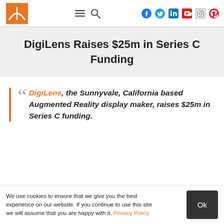DigiLens Raises $25m in Series C Funding — website header with logo and social media icons
DigiLens Raises $25m in Series C Funding
DigiLens, the Sunnyvale, California based Augmented Reality display maker, raises $25m in Series C funding.
We use cookies to ensure that we give you the best experience on our website. If you continue to use this site we will assume that you are happy with it. Privacy Policy